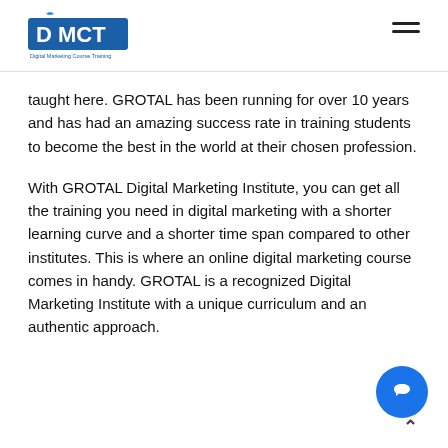DMCT Digital Marketing Course Training
taught here. GROTAL has been running for over 10 years and has had an amazing success rate in training students to become the best in the world at their chosen profession.
With GROTAL Digital Marketing Institute, you can get all the training you need in digital marketing with a shorter learning curve and a shorter time span compared to other institutes. This is where an online digital marketing course comes in handy. GROTAL is a recognized Digital Marketing Institute with a unique curriculum and an authentic approach.